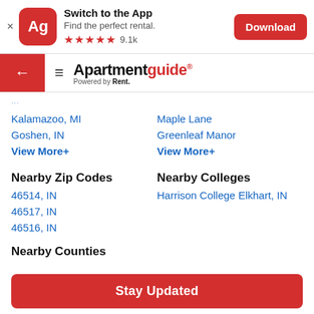[Figure (screenshot): App download banner with Ag logo, 'Switch to the App', 'Find the perfect rental.', 5 star rating, 9.1k reviews, and Download button]
[Figure (logo): Apartmentguide powered by Rent. navigation bar with back arrow and hamburger menu]
Kalamazoo, MI
Maple Lane
Goshen, IN
Greenleaf Manor
View More+
View More+
Nearby Zip Codes
Nearby Colleges
46514, IN
Harrison College Elkhart, IN
46517, IN
46516, IN
Nearby Counties
Stay Updated